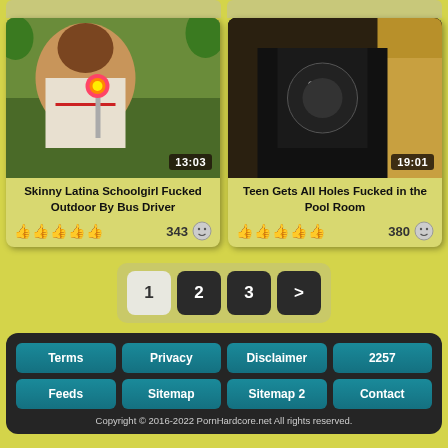[Figure (photo): Video thumbnail: Skinny Latina Schoolgirl Fucked Outdoor By Bus Driver, duration 13:03]
[Figure (photo): Video thumbnail: Teen Gets All Holes Fucked in the Pool Room, duration 19:01]
Skinny Latina Schoolgirl Fucked Outdoor By Bus Driver
343
Teen Gets All Holes Fucked in the Pool Room
380
1 2 3 >
Terms | Privacy | Disclaimer | 2257 | Feeds | Sitemap | Sitemap 2 | Contact
Copyright © 2016-2022 PornHardcore.net All rights reserved.